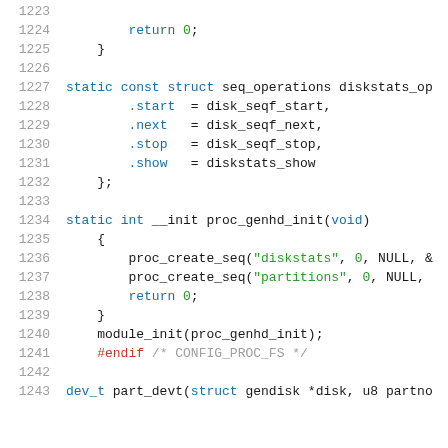C source code lines 1223-1243 showing kernel disk stats and partition proc filesystem initialization
1223: (blank)
1224:     return 0;
1225: }
1226: (blank)
1227: static const struct seq_operations diskstats_op
1228:     .start = disk_seqf_start,
1229:     .next  = disk_seqf_next,
1230:     .stop  = disk_seqf_stop,
1231:     .show  = diskstats_show
1232: };
1233: (blank)
1234: static int __init proc_genhd_init(void)
1235: {
1236:     proc_create_seq("diskstats", 0, NULL, &
1237:     proc_create_seq("partitions", 0, NULL,
1238:     return 0;
1239: }
1240: module_init(proc_genhd_init);
1241: #endif /* CONFIG_PROC_FS */
1242: (blank)
1243: dev_t part_devt(struct gendisk *disk, u8 partno